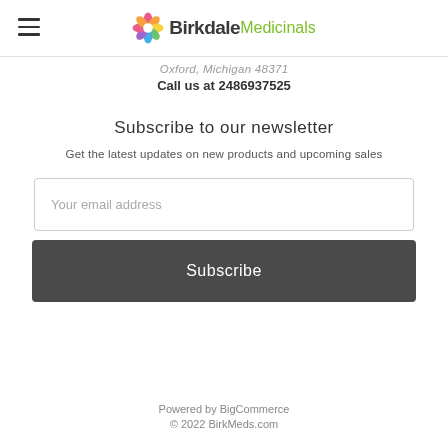Birkdale Medicinals
Oxford, Michigan 48371
Call us at 2486937525
Subscribe to our newsletter
Get the latest updates on new products and upcoming sales
Your email address
Subscribe
Powered by BigCommerce
© 2022 BirkMeds.com